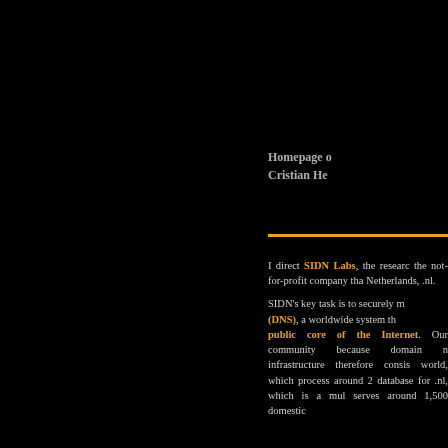Homepage of
Cristian He
I direct SIDN Labs, the research of the not-for-profit company that Netherlands, .nl.

SIDN's key task is to securely manage the Domain Name System (DNS), a worldwide system that is part of the public core of the Internet. Our community because domain name infrastructure therefore consists of world, which process around 2 database for .nl, which is a mul serves around 1,500 domestic